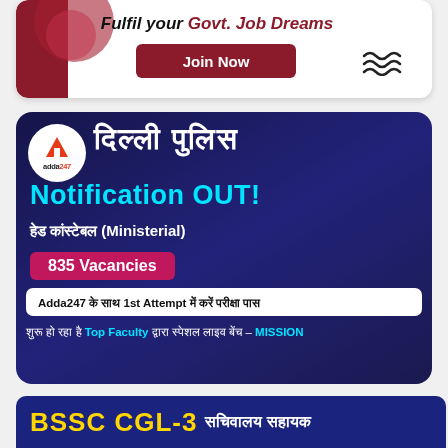[Figure (infographic): Advertisement banner: 'Fulfil your Govt. Job Dreams' with a red Join Now button on white background with red accent on left]
[Figure (infographic): Adda247 Delhi Police Head Constable Ministerial notification banner. Dark blue background with Adda247 logo, Hindi text 'दिल्ली पुलिस', 'Notification OUT!', 'हेड कांस्टेबल (Ministerial)', '835 Vacancies', 'Adda247 के साथ 1st Attempt में करें परीक्षा पास', and 'शुरू हो रहा है Top Faculty द्वारा स्पेशल लाइव बेंच - MISSION']
[Figure (infographic): BSSC CGL-3 सचिवालय सहायक advertisement banner in dark blue with yellow and white text]